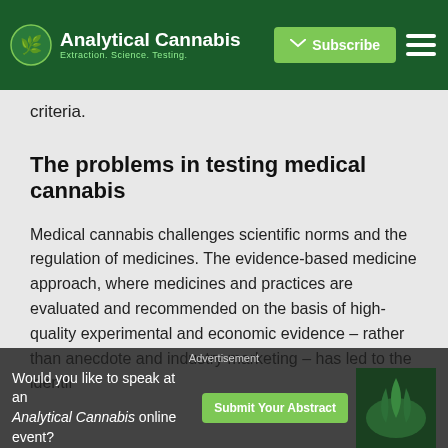Analytical Cannabis — Extraction. Science. Testing. | Subscribe
criteria.
The problems in testing medical cannabis
Medical cannabis challenges scientific norms and the regulation of medicines. The evidence-based medicine approach, where medicines and practices are evaluated and recommended on the basis of high-quality experimental and economic evidence – rather than anecdote and industry marketing – has led to the identification of medical treatments...
Advertisement — Would you like to speak at an Analytical Cannabis online event? Submit Your Abstract